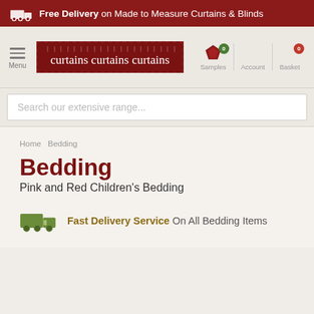Free Delivery on Made to Measure Curtains & Blinds
[Figure (screenshot): Website navigation header with logo 'curtains curtains curtains', menu button, samples, account, and basket icons]
Search our extensive range...
Home  Bedding
Bedding
Pink and Red Children's Bedding
Fast Delivery Service On All Bedding Items